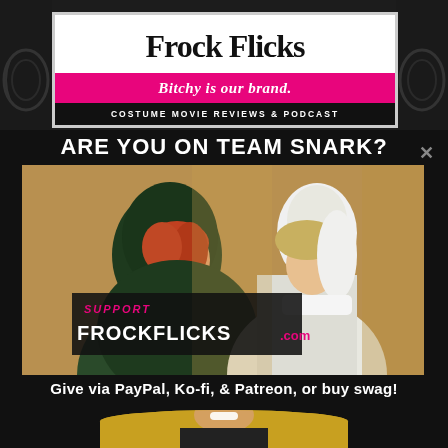[Figure (logo): Frock Flicks logo — white background with serif title 'Frock Flicks', pink bar with italic 'Bitchy is our brand.', black bar with 'COSTUME MOVIE REVIEWS & PODCAST']
ARE YOU ON TEAM SNARK?
[Figure (photo): Film still showing two women in period costumes — a redhead in a dark green hood/cloak and a blonde woman in a white period cap/veil, with 'SUPPORT FROCKFLICKS.com' overlay text]
Give via PayPal, Ko-fi, & Patreon, or buy swag!
[Figure (photo): Partial portrait of a smiling person at the very bottom of the image]